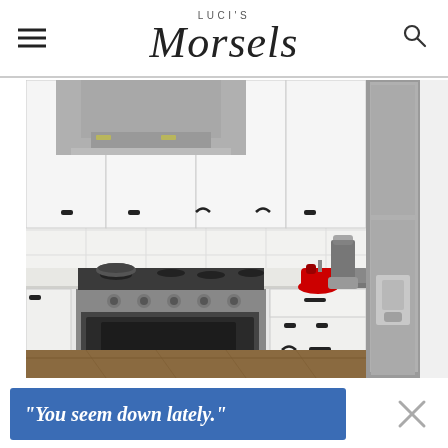LUCI'S Morsels
[Figure (photo): Modern kitchen with white cabinets, stainless steel gas range, stainless steel refrigerator, range hood, and various small kitchen appliances on the counter including a red stand mixer, electric kettle, and blender. White subway tile backsplash and light countertops.]
"You seem down lately."